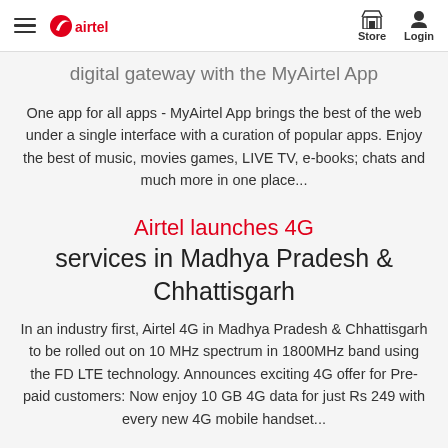airtel | Store | Login
digital gateway with the MyAirtel App
One app for all apps - MyAirtel App brings the best of the web under a single interface with a curation of popular apps. Enjoy the best of music, movies games, LIVE TV, e-books; chats and much more in one place...
Airtel launches 4G services in Madhya Pradesh & Chhattisgarh
In an industry first, Airtel 4G in Madhya Pradesh & Chhattisgarh to be rolled out on 10 MHz spectrum in 1800MHz band using the FD LTE technology. Announces exciting 4G offer for Pre-paid customers: Now enjoy 10 GB 4G data for just Rs 249 with every new 4G mobile handset...